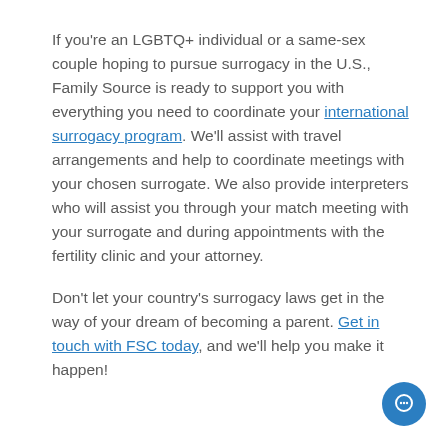If you're an LGBTQ+ individual or a same-sex couple hoping to pursue surrogacy in the U.S., Family Source is ready to support you with everything you need to coordinate your international surrogacy program. We'll assist with travel arrangements and help to coordinate meetings with your chosen surrogate. We also provide interpreters who will assist you through your match meeting with your surrogate and during appointments with the fertility clinic and your attorney.
Don't let your country's surrogacy laws get in the way of your dream of becoming a parent. Get in touch with FSC today, and we'll help you make it happen!